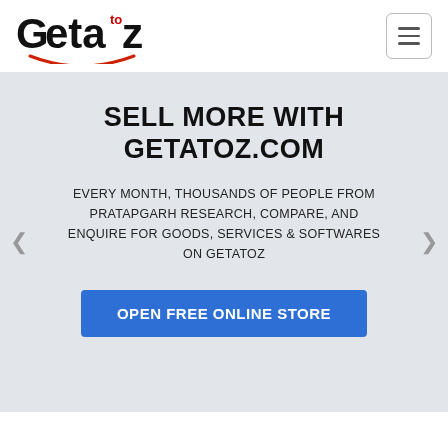[Figure (logo): Getatoz logo with stylized text 'Geta to z' and a red smile arc underneath]
SELL MORE WITH GETATOZ.COM
EVERY MONTH, THOUSANDS OF PEOPLE FROM PRATAPGARH RESEARCH, COMPARE, AND ENQUIRE FOR GOODS, SERVICES & SOFTWARES ON GETATOZ
OPEN FREE ONLINE STORE